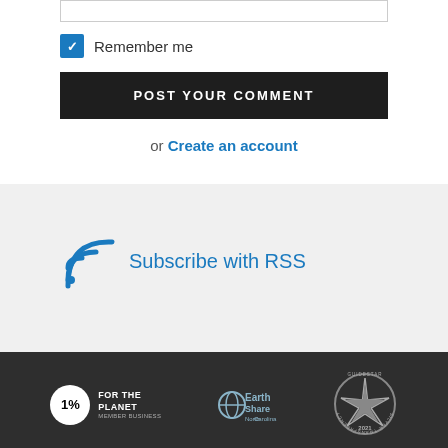Remember me
POST YOUR COMMENT
or Create an account
Subscribe with RSS
[Figure (logo): 1% For The Planet logo]
[Figure (logo): EarthShare North Carolina logo]
[Figure (logo): GuideStar Silver Transparency 2021 seal]